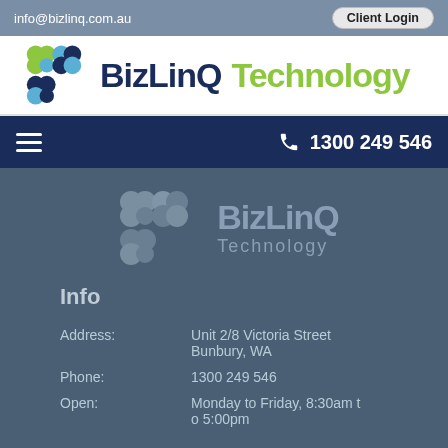info@bizlinq.com.au
Client Login
[Figure (logo): BizLinQ Technology logo with colorful chain-link icon and company name in dark blue and green]
1300 249 546
[Figure (logo): BizLinQ Technology watermark logo in grey on dark blue-grey background]
Info
| Label | Value |
| --- | --- |
| Address: | Unit 2/8 Victoria Street
Bunbury, WA |
| Phone: | 1300 249 546 |
| Open: | Monday to Friday, 8:30am to 5:00pm |